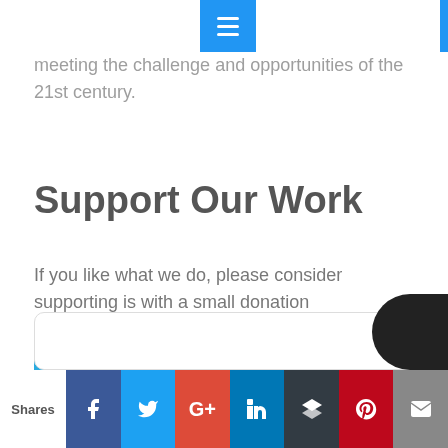...sustains us, understanding climate change is central to meeting the challenge and opportunities of the 21st century.
Support Our Work
If you like what we do, please consider supporting is with a small donation
[Figure (other): Ko-fi support button — cyan rounded button with Ko-fi cup logo and text 'Support me on Ko-fi']
[Figure (other): Social sharing bar with Facebook, Twitter, Google+, LinkedIn, Buffer, Pinterest, and Mail icons with 'Shares' label on left]